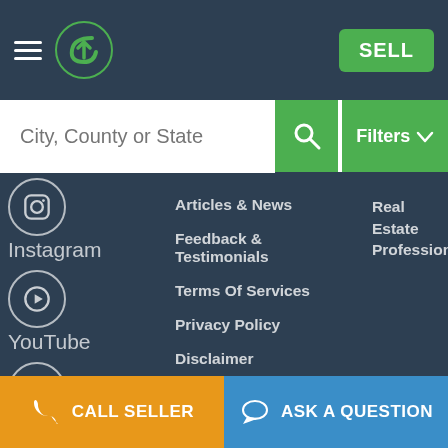Navigation bar with hamburger menu, logo, and SELL button
City, County or State
Instagram
YouTube
Twitter
Pinterest
Articles & News
Feedback & Testimonials
Terms Of Services
Privacy Policy
Disclaimer
Help Center
Contact Us
Real Estate Professionals
CALL SELLER | ASK A QUESTION